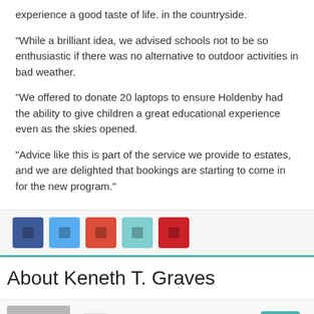experience a good taste of life. in the countryside.
“While a brilliant idea, we advised schools not to be so enthusiastic if there was no alternative to outdoor activities in bad weather.
“We offered to donate 20 laptops to ensure Holdenby had the ability to give children a great educational experience even as the skies opened.
“Advice like this is part of the service we provide to estates, and we are delighted that bookings are starting to come in for the new program.”
[Figure (infographic): Social sharing buttons: Facebook (dark blue), Twitter (light blue), Google+ (orange-red), LinkedIn (teal), Pinterest (red)]
About Keneth T. Graves
[Figure (photo): Author avatar placeholder (grey box with circular head silhouette), a small grey icon button, and a teal button on the right]